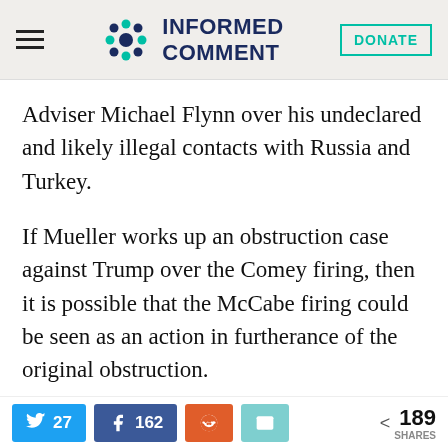Informed Comment — DONATE
Adviser Michael Flynn over his undeclared and likely illegal contacts with Russia and Turkey.
If Mueller works up an obstruction case against Trump over the Comey firing, then it is possible that the McCabe firing could be seen as an action in furtherance of the original obstruction.
Trump also sees McCabe as a Democratic
27 Twitter shares, 162 Facebook shares, Reddit share, Email share, 189 total shares